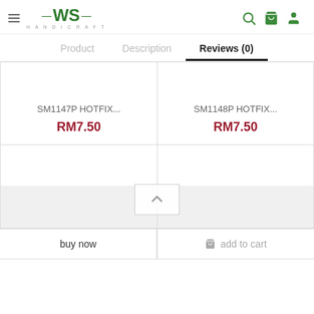[Figure (logo): WS Handicraft logo with hamburger menu icon]
Product  Description  Reviews (0)
SM1147P HOTFIX...
RM7.50
SM1148P HOTFIX...
RM7.50
buy now
add to cart